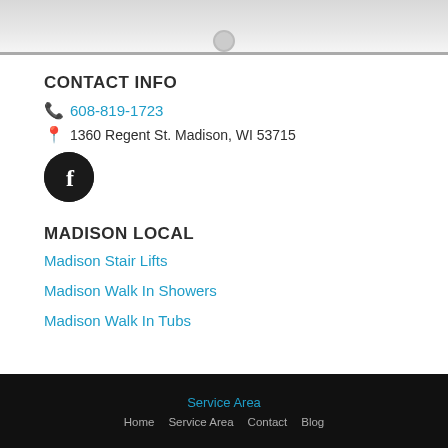[Figure (photo): Top portion showing a gray/white surface with a circular element in the center]
CONTACT INFO
608-819-1723
1360 Regent St. Madison, WI 53715
[Figure (logo): Facebook icon — black circle with white F]
MADISON LOCAL
Madison Stair Lifts
Madison Walk In Showers
Madison Walk In Tubs
Service Area  Home  Service Area  Contact  Blog